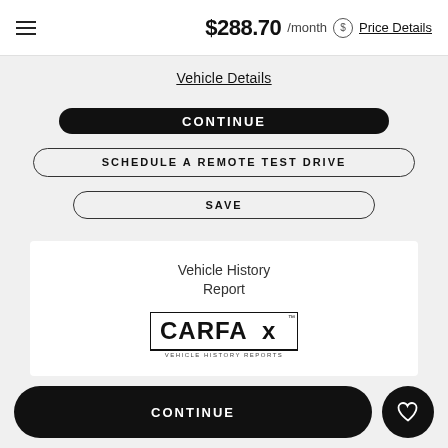$288.70 /month  Price Details
Vehicle Details
CONTINUE
SCHEDULE A REMOTE TEST DRIVE
SAVE
Vehicle History Report
[Figure (logo): CARFAX VEHICLE HISTORY REPORTS logo]
CONTINUE